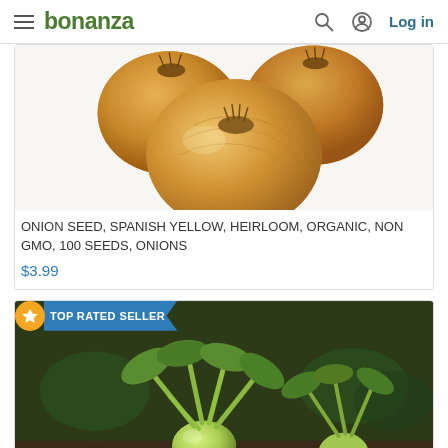bonanza  Log in
[Figure (photo): Photo of three golden/tan onions grouped together on a white background]
ONION SEED, SPANISH YELLOW, HEIRLOOM, ORGANIC, NON GMO, 100 SEEDS, ONIONS
$3.99
[Figure (photo): TOP RATED SELLER badge with star icon over a photo of kohlrabi plants growing in a garden with dark soil]